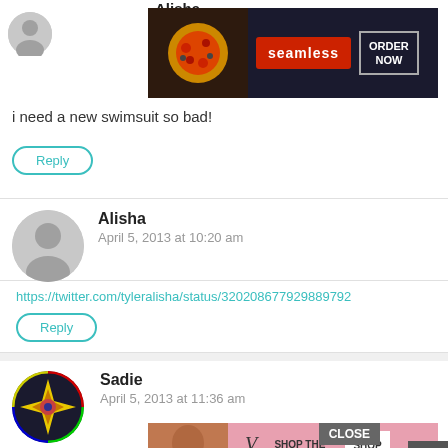Alisha
[Figure (screenshot): Seamless food delivery ad banner with pizza image, seamless logo in red, and ORDER NOW button]
i need a new swimsuit so bad!
Reply
Alisha
April 5, 2013 at 10:20 am
https://twitter.com/tyleralisha/status/320208677929889792
Reply
Sadie
April 5, 2013 at 11:36 am
CLOSE
[Figure (screenshot): Victoria's Secret ad banner with model, VS logo, SHOP THE COLLECTION text, and SHOP NOW button]
https